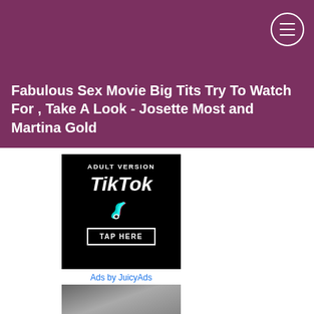Fabulous Sex Movie Big Tits Try To Watch For , Take A Look - Josette Most and Martina Gold
[Figure (infographic): Adult Version TikTok advertisement banner with TikTok logo, music note icon in teal/red colors, and TAP HERE button on black background]
Ads by JuicyAds
[Figure (photo): Partial photo of a person at the bottom of the page]